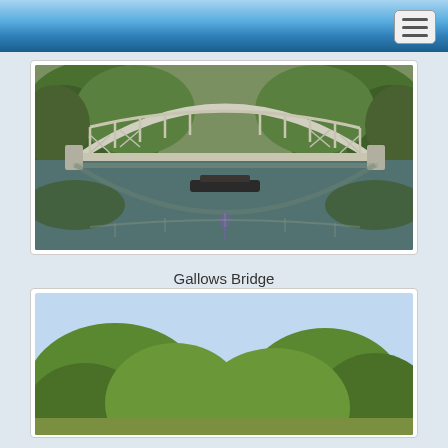Navigation bar with hamburger menu
[Figure (photo): Aerial/elevated view of Gallows Bridge, an ornate iron arch footbridge over a canal or river, with lush green vegetation on both banks, reflected symmetrically in the calm water below. A narrow boat is visible passing under the bridge.]
Gallows Bridge
[Figure (photo): Partial view of a second outdoor scene showing green trees against a bright sky, bottom portion of another image card.]